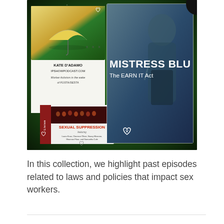[Figure (photo): Collage of podcast cover art images against a dark green sparkly background. Left card shows an umbrella design with text 'KATE D'ADAMO IPSHOWPODCAST.COM Worker Activism in the wake of FOSTA/SESTA'. Bottom left card shows 'SEXUAL SUPPRESSION' with performer silhouettes and names. Right card shows a person in lingerie with text 'MISTRESS BLU' and 'The EARN IT Act'.]
In this collection, we highlight past episodes related to laws and policies that impact sex workers.